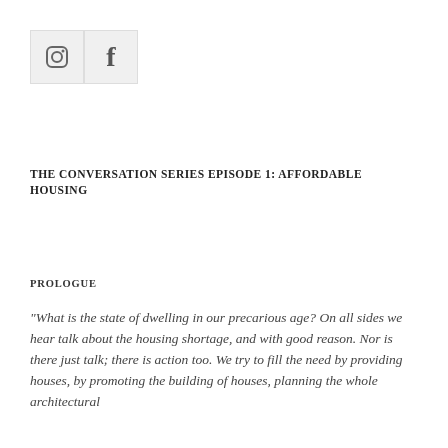[Figure (logo): Social media icons: Instagram and Facebook icon boxes side by side with gray background]
THE CONVERSATION SERIES EPISODE 1: AFFORDABLE HOUSING
PROLOGUE
“What is the state of dwelling in our precarious age? On all sides we hear talk about the housing shortage, and with good reason. Nor is there just talk; there is action too. We try to fill the need by providing houses, by promoting the building of houses, planning the whole architectural